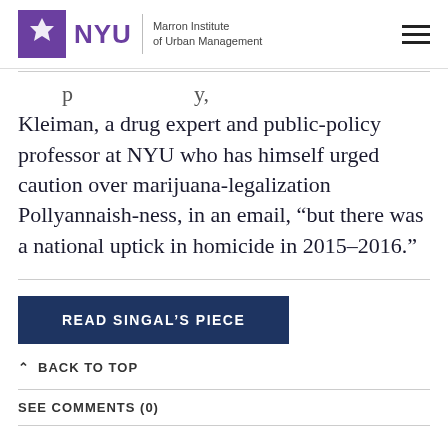NYU Marron Institute of Urban Management
Kleiman, a drug expert and public-policy professor at NYU who has himself urged caution over marijuana-legalization Pollyannaish-ness, in an email, “but there was a national uptick in homicide in 2015–2016.”
READ SINGAL’S PIECE
BACK TO TOP
SEE COMMENTS (0)